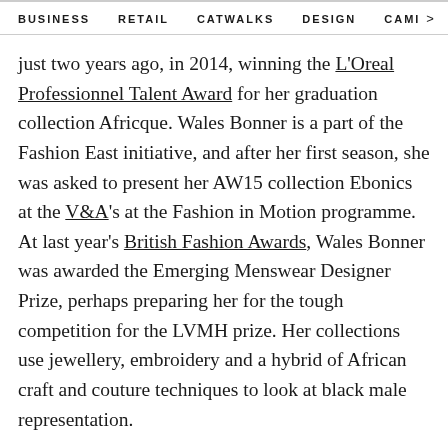BUSINESS   RETAIL   CATWALKS   DESIGN   CAMI >
just two years ago, in 2014, winning the L'Oreal Professionnel Talent Award for her graduation collection Africque. Wales Bonner is a part of the Fashion East initiative, and after her first season, she was asked to present her AW15 collection Ebonics at the V&A's at the Fashion in Motion programme.
At last year's British Fashion Awards, Wales Bonner was awarded the Emerging Menswear Designer Prize, perhaps preparing her for the tough competition for the LVMH prize. Her collections use jewellery, embroidery and a hybrid of African craft and couture techniques to look at black male representation.